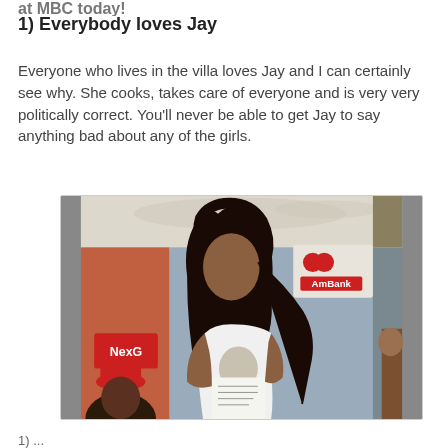at MBC today!
1) Everybody loves Jay
Everyone who lives in the villa loves Jay and I can certainly see why. She cooks, takes care of everyone and is very very politically correct. You'll never be able to get Jay to say anything bad about any of the girls.
[Figure (photo): A young woman with long dark hair wearing a white t-shirt, holding papers, standing in front of promotional banners including AmBank and NexG. Another person in a red hat is visible in the lower left corner.]
1) ...